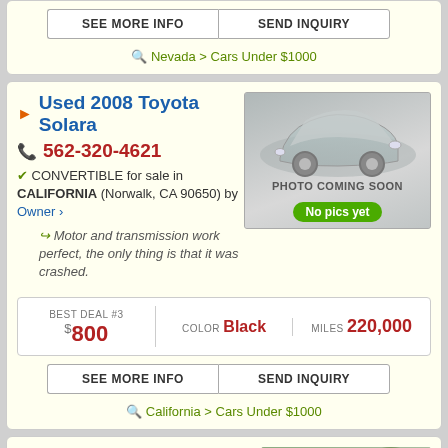SEE MORE INFO | SEND INQUIRY
Nevada > Cars Under $1000
Used 2008 Toyota Solara
562-320-4621
CONVERTIBLE for sale in CALIFORNIA (Norwalk, CA 90650) by Owner ›
Motor and transmission work perfect, the only thing is that it was crashed.
[Figure (photo): Car photo placeholder - PHOTO COMING SOON with No pics yet badge]
BEST DEAL #3 $800 | COLOR Black | MILES 220,000
SEE MORE INFO | SEND INQUIRY
California > Cars Under $1000
Used 2002 Toyota Solara V6
Car does start up and run, but overheats.
210-773-9211
COUPE for sale in CALIFORNIA (Modesto, CA 95358) by